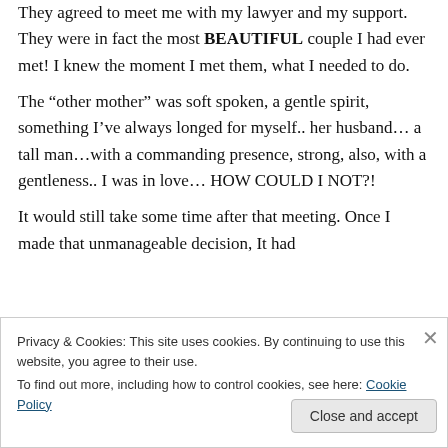They agreed to meet me with my lawyer and my support. They were in fact the most BEAUTIFUL couple I had ever met! I knew the moment I met them, what I needed to do.
The “other mother” was soft spoken, a gentle spirit, something I’ve always longed for myself.. her husband… a tall man…with a commanding presence, strong, also, with a gentleness.. I was in love… HOW COULD I NOT?!
It would still take some time after that meeting. Once I made that unmanageable decision, It had
Privacy & Cookies: This site uses cookies. By continuing to use this website, you agree to their use.
To find out more, including how to control cookies, see here: Cookie Policy